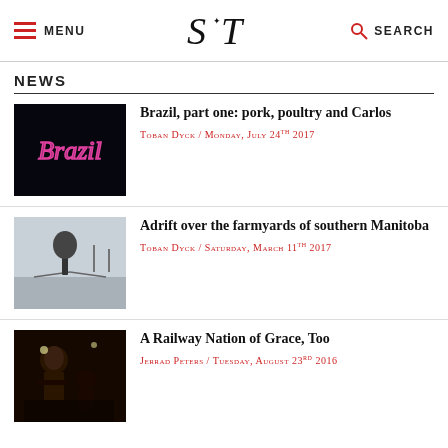MENU | S T | SEARCH
NEWS
[Figure (photo): Dark background with neon pink/red cursive 'Brazil' sign]
Brazil, part one: pork, poultry and Carlos
Toban Dyck / Monday, July 24th 2017
[Figure (photo): Winter road scene in southern Manitoba, bare tree and telephone poles visible]
Adrift over the farmyards of southern Manitoba
Toban Dyck / Saturday, March 11th 2017
[Figure (photo): Concert photo of musician playing guitar on stage]
A Railway Nation of Grace, Too
Jerrad Peters / Tuesday, August 23rd 2016